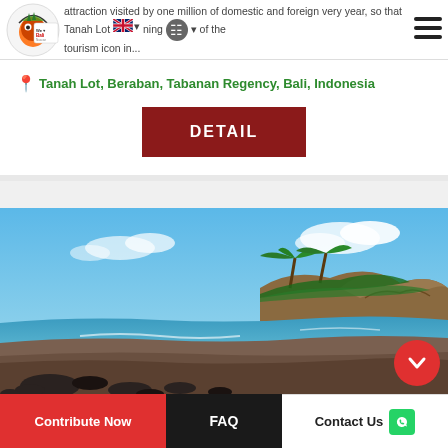We Love Bali - attraction visited by one million of domestic and foreign tourists every year, so that Tanah Lot becoming one of the tourism icon in...
Tanah Lot, Beraban, Tabanan Regency, Bali, Indonesia
DETAIL
[Figure (photo): Scenic beach photo with dark volcanic sand, ocean waves, palm trees, and a rocky cliff under a blue sky with clouds - likely a beach near Tanah Lot, Bali, Indonesia]
Contribute Now | FAQ | Contact Us